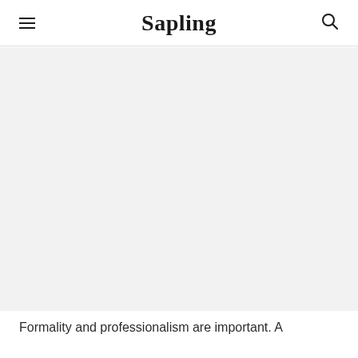Sapling
[Figure (other): Large light gray hero image area below the navigation header]
Formality and professionalism are important. A